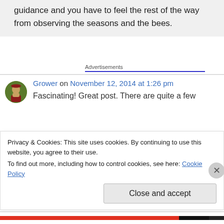guidance and you have to feel the rest of the way from observing the seasons and the bees.
Advertisements
Grower on November 12, 2014 at 1:26 pm
Fascinating! Great post. There are quite a few
Privacy & Cookies: This site uses cookies. By continuing to use this website, you agree to their use. To find out more, including how to control cookies, see here: Cookie Policy
Close and accept